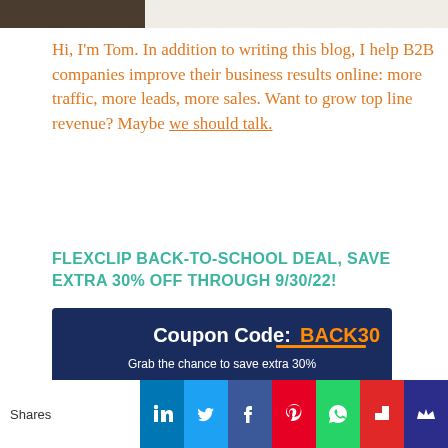[Figure (photo): Partial top of a photo showing a person and light background, cropped at top of page]
Hi, I'm Tom. In addition to writing this blog, I help B2B companies improve their business results online: more traffic, more leads, more sales. Want to grow top line revenue? Maybe we should talk.
FLEXCLIP BACK-TO-SCHOOL DEAL, SAVE EXTRA 30% OFF THROUGH 9/30/22!
[Figure (screenshot): Advertisement banner with dark blue background showing 'Coupon Code: BACK30', 'Grab the chance to save extra 30%', an orange 'Claim My Offer' button, and a partial view of FlexClip interface below]
Shares | LinkedIn | Twitter | Facebook | Pinterest | WhatsApp | Flipboard | Crown